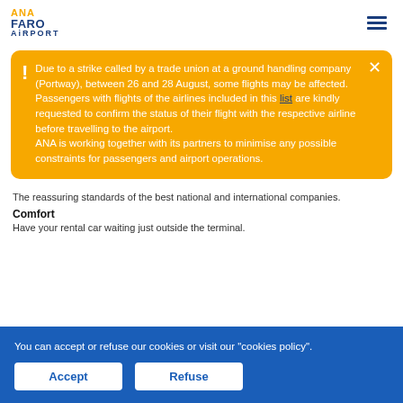ANA FARO AIRPORT
Due to a strike called by a trade union at a ground handling company (Portway), between 26 and 28 August, some flights may be affected. Passengers with flights of the airlines included in this list are kindly requested to confirm the status of their flight with the respective airline before travelling to the airport. ANA is working together with its partners to minimise any possible constraints for passengers and airport operations.
The reassuring standards of the best national and international companies.
Comfort
Have your rental car waiting just outside the terminal.
You can accept or refuse our cookies or visit our "cookies policy".